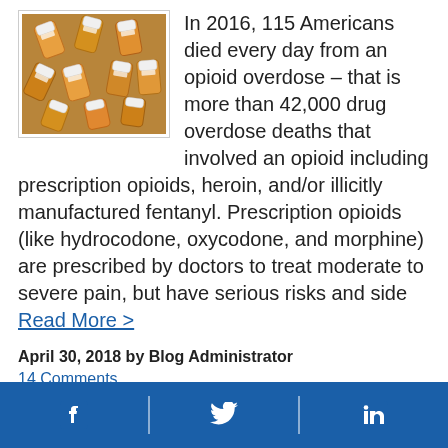[Figure (photo): Overhead view of many orange prescription pill bottles with white caps, scattered together.]
In 2016, 115 Americans died every day from an opioid overdose – that is more than 42,000 drug overdose deaths that involved an opioid including prescription opioids, heroin, and/or illicitly manufactured fentanyl. Prescription opioids (like hydrocodone, oxycodone, and morphine) are prescribed by doctors to treat moderate to severe pain, but have serious risks and side Read More >
April 30, 2018 by Blog Administrator
14 Comments
Injury, prevention, public health communication campaign, drug overdose, opioid, opioid epidemic, opioid overdose, overdose,
Facebook | Twitter | LinkedIn